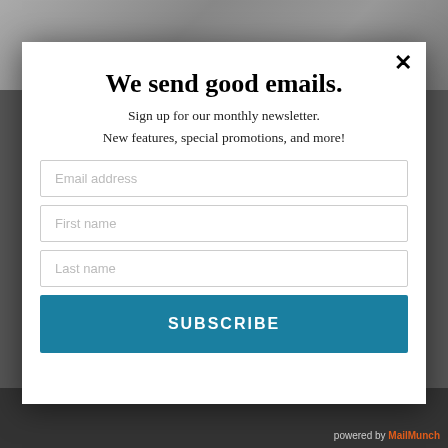[Figure (screenshot): Dark blurred background behind modal popup]
We send good emails.
Sign up for our monthly newsletter.
New features, special promotions, and more!
Email address
First name
Last name
SUBSCRIBE
powered by MailMunch